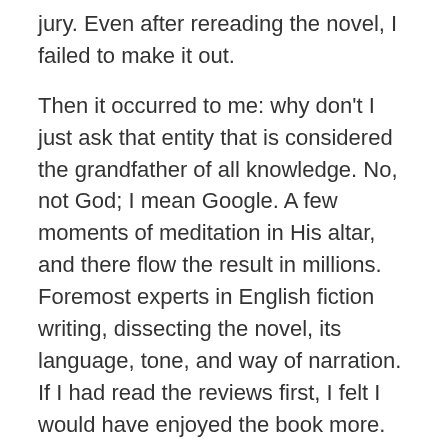jury. Even after rereading the novel, I failed to make it out.
Then it occurred to me: why don't I just ask that entity that is considered the grandfather of all knowledge. No, not God; I mean Google. A few moments of meditation in His altar, and there flow the result in millions. Foremost experts in English fiction writing, dissecting the novel, its language, tone, and way of narration. If I had read the reviews first, I felt I would have enjoyed the book more.
Suddenly a lightbulb went off in my head: There is always a better way of doing things; even if it is reading.
The Useful 20